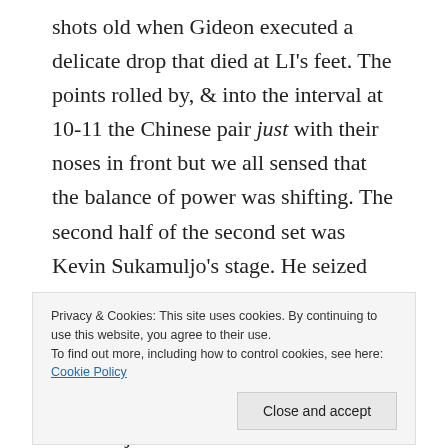shots old when Gideon executed a delicate drop that died at LI's feet. The points rolled by, & into the interval at 10-11 the Chinese pair just with their noses in front but we all sensed that the balance of power was shifting. The second half of the second set was Kevin Sukamuljo's stage. He seized the initiative at the net, and despite LIU's long reach he was passed repeatedly. The Chinese men were desperately trying to vary the tempo of shots to jolt the Minions off momentum but they failed again and again. Kevin was liberated by to be King of the Forecourt by Marcus's pugnacity and
Privacy & Cookies: This site uses cookies. By continuing to use this website, you agree to their use.
To find out more, including how to control cookies, see here: Cookie Policy
Close and accept
but that if they were able to stay in their favoured